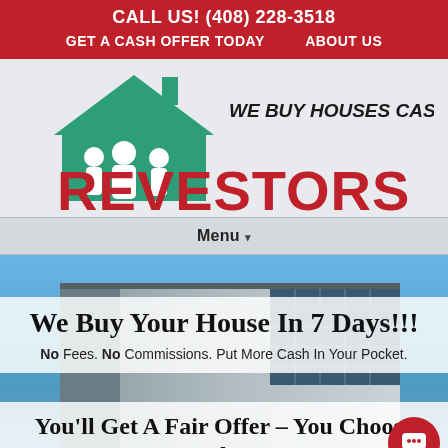CALL US! (408) 228-3518
GET A CASH OFFER TODAY   ABOUT US
[Figure (logo): Revestors logo: green house icon with silhouette of people inside, 'WE BUY HOUSES CASH' in handwritten style text, 'REVESTORS' in large bold red serif letters]
Menu ▾
[Figure (photo): Photo of a modern commercial building with glass windows and blue sky background]
We Buy Your House In 7 Days!!!
No Fees. No Commissions. Put More Cash In Your Pocket.
You'll Get A Fair Offer – You Choose The